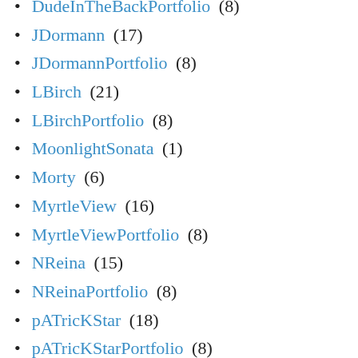DudeInTheBackPortfolio (8)
JDormann (17)
JDormannPortfolio (8)
LBirch (21)
LBirchPortfolio (8)
MoonlightSonata (1)
Morty (6)
MyrtleView (16)
MyrtleViewPortfolio (8)
NReina (15)
NReinaPortfolio (8)
pATricKStar (18)
pATricKStarPortfolio (8)
PaulaJean (16)
PaulaJeanPortfolio (8)
picklerick (18)